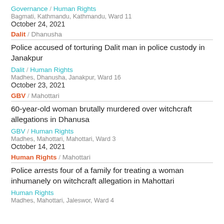Governance / Human Rights
Bagmati, Kathmandu, Kathmandu, Ward 11
October 24, 2021
Dalit / Dhanusha
Police accused of torturing Dalit man in police custody in Janakpur
Dalit / Human Rights
Madhes, Dhanusha, Janakpur, Ward 16
October 23, 2021
GBV / Mahottari
60-year-old woman brutally murdered over witchcraft allegations in Dhanusa
GBV / Human Rights
Madhes, Mahottari, Mahottari, Ward 3
October 14, 2021
Human Rights / Mahottari
Police arrests four of a family for treating a woman inhumanely on witchcraft allegation in Mahottari
Human Rights
Madhes, Mahottari, Jaleswor, Ward 4